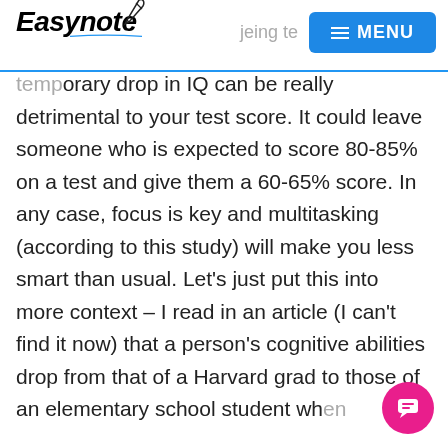Easynote | being te... | MENU
temporary drop in IQ can be really detrimental to your test score. It could leave someone who is expected to score 80-85% on a test and give them a 60-65% score. In any case, focus is key and multitasking (according to this study) will make you less smart than usual. Let's just put this into more context – I read in an article (I can't find it now) that a person's cognitive abilities drop from that of a Harvard grad to those of an elementary school student when